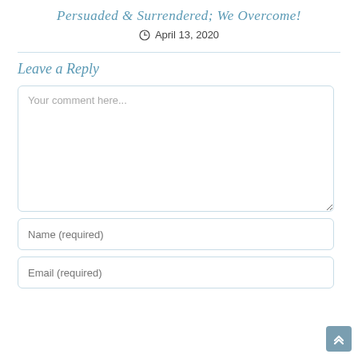Persuaded & Surrendered; We Overcome!
April 13, 2020
Leave a Reply
Your comment here...
Name (required)
Email (required)